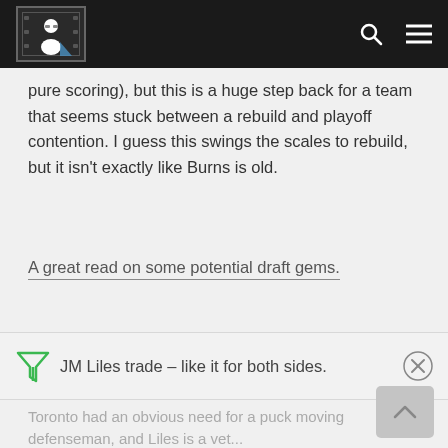[Logo] [Search icon] [Menu icon]
pure scoring), but this is a huge step back for a team that seems stuck between a rebuild and playoff contention. I guess this swings the scales to rebuild, but it isn't exactly like Burns is old.
A great read on some potential draft gems.
JM Liles trade – like it for both sides.
Toronto had an obvious need for a puck moving defenseman, and Liles is a veteran...